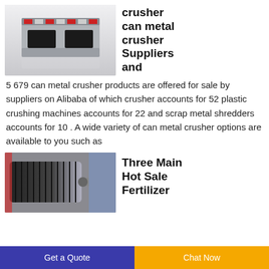[Figure (photo): Industrial can metal crusher machine - 3D render showing a gray machine with red warning stripes and two black rectangular openings]
crusher can metal crusher Suppliers and
5 679 can metal crusher products are offered for sale by suppliers on Alibaba of which crusher accounts for 52 plastic crushing machines accounts for 22 and scrap metal shredders accounts for 10 . A wide variety of can metal crusher options are available to you such as
[Figure (photo): Industrial electric motor - photo showing a large black ribbed electric motor with a shaft coupling, mounted on a surface with red and blue equipment visible in background]
Three Main Hot Sale Fertilizer
Get a Quote   Chat Now